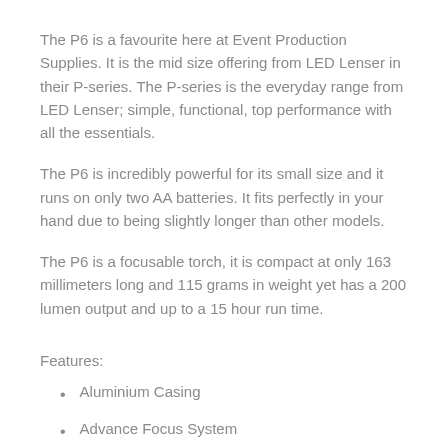The P6 is a favourite here at Event Production Supplies. It is the mid size offering from LED Lenser in their P-series. The P-series is the everyday range from LED Lenser; simple, functional, top performance with all the essentials.
The P6 is incredibly powerful for its small size and it runs on only two AA batteries. It fits perfectly in your hand due to being slightly longer than other models.
The P6 is a focusable torch, it is compact at only 163 millimeters long and 115 grams in weight yet has a 200 lumen output and up to a 15 hour run time.
Features:
Aluminium Casing
Advance Focus System
Light weight